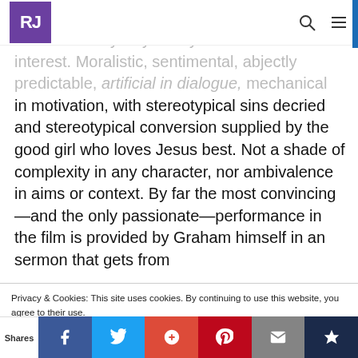RJ [logo] | search | menu
el to the Hardy Boys story that was the real interest. Moralistic, sentimental, abjectly predictable, artificial in dialogue, mechanical in motivation, with stereotypical sins decried and stereotypical conversion supplied by the good girl who loves Jesus best. Not a shade of complexity in any character, nor ambivalence in aims or context. By far the most convincing—and the only passionate—performance in the film is provided by Graham himself in an sermon that gets from
Privacy & Cookies: This site uses cookies. By continuing to use this website, you agree to their use.
To find out more, including how to control cookies, see here: Cookie Policy
Close and accept
Shares | Facebook | Twitter | Google+ | Pinterest | Email | Bookmark